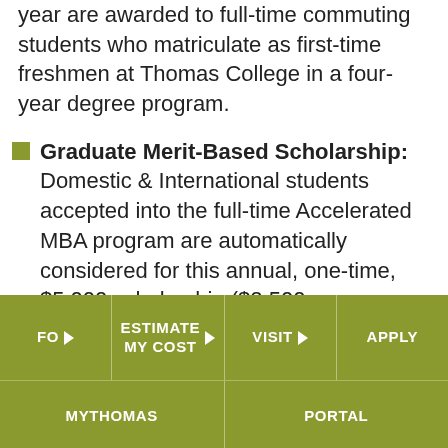year are awarded to full-time commuting students who matriculate as first-time freshmen at Thomas College in a four-year degree program.
Graduate Merit-Based Scholarship: Domestic & International students accepted into the full-time Accelerated MBA program are automatically considered for this annual, one-time, $5,000 scholarship ($2,500 per semester). Students must have an incoming undergraduate cumulative GPA of 3.0.
Read more about our merit-based scholarships in
[Figure (screenshot): Olive/green navigation bar with links: FO (with chevron), ESTIMATE MY COST (with chevron), VISIT (with chevron), APPLY; bottom row: MYTHOMAS, PORTAL]